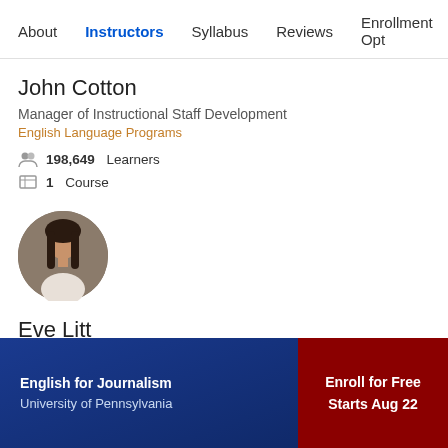About  Instructors  Syllabus  Reviews  Enrollment Options
John Cotton
Manager of Instructional Staff Development
English Language Programs
198,649 Learners
1 Course
[Figure (photo): Circular profile photo of Eve Litt, a woman with long dark hair in front of a brick wall]
Eve Litt
Language Specialist
English for Journalism  University of Pennsylvania  Enroll for Free  Starts Aug 22